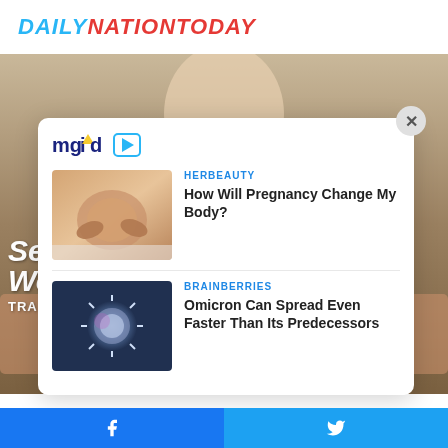DAILYNATIONTODAY
[Figure (photo): Background image of a blonde pregnant woman in white clothing, with text overlay 'See Woman Alive TRAI']
[Figure (screenshot): MGID sponsored content widget card with close button, mgid logo, and two article recommendations]
HERBEAUTY
How Will Pregnancy Change My Body?
BRAINBERRIES
Omicron Can Spread Even Faster Than Its Predecessors
Facebook | Twitter share bar